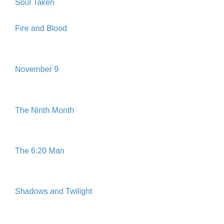Soul Taken
Fire and Blood
November 9
The Ninth Month
The 6:20 Man
Shadows and Twilight
The Right Time
All Good People Here
Girl, Trapped (An Ella Dark FBI Suspense Thriller—Book 8)
Her Song in His Heart
Ruby Fever
Fox Creek
Dead or Alive